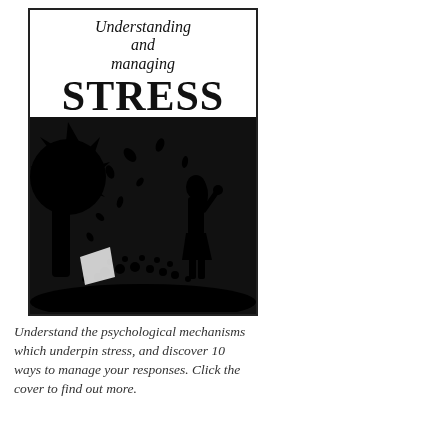[Figure (illustration): Book cover of 'Understanding and managing STRESS' by Daniel Frings, PhD, published by PiB. Features a black silhouette scene with a girl holding a flower, a tree, leaves blowing in wind, and decorative flowers on the ground against a black background.]
Understand the psychological mechanisms which underpin stress, and discover 10 ways to manage your responses. Click the cover to find out more.